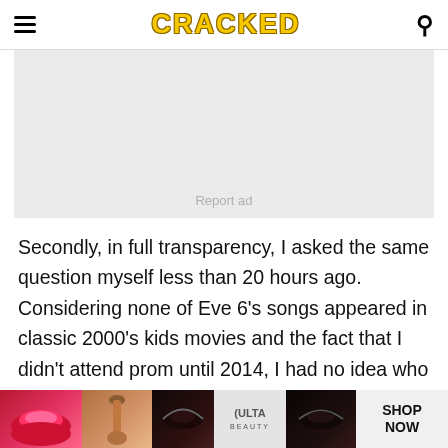CRACKED
[Figure (other): Advertisement placeholder box with 'Report ad' text]
Secondly, in full transparency, I asked the same question myself less than 20 hours ago. Considering none of Eve 6's songs appeared in classic 2000's kids movies and the fact that I didn't attend prom until 2014, I had no idea who these guys were until
[Figure (photo): Ulta Beauty advertisement banner showing lips with lipstick, makeup brush, eye makeup, Ulta logo, more eye makeup, and SHOP NOW call to action]